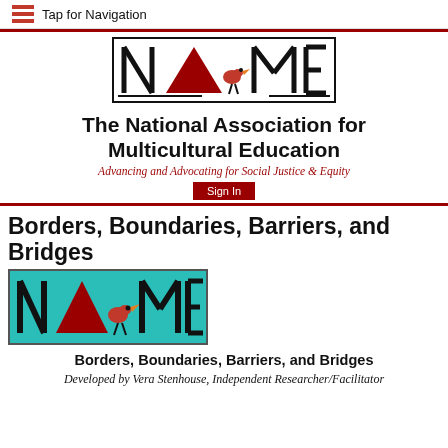Tap for Navigation
[Figure (logo): NAME logo — stylized letters N, A, M, E with a red triangle (A) and a decorative bird, inside a rectangular border]
The National Association for Multicultural Education
Advancing and Advocating for Social Justice & Equity
Sign In
Borders, Boundaries, Barriers, and Bridges
[Figure (logo): NAME logo on teal/turquoise background — stylized letters N, A, M, E with red triangle and decorative bird]
Borders, Boundaries, Barriers, and Bridges
Developed by Vera Stenhouse, Independent Researcher/Facilitator